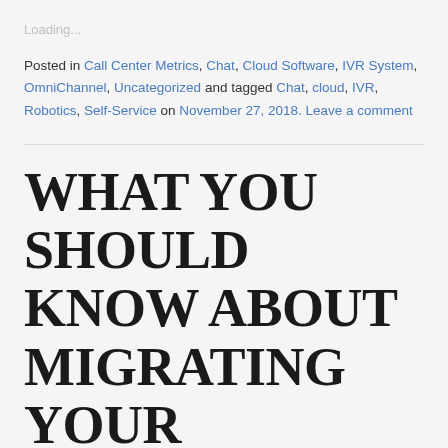Loading...
Posted in Call Center Metrics, Chat, Cloud Software, IVR System, OmniChannel, Uncategorized and tagged Chat, cloud, IVR, Robotics, Self-Service on November 27, 2018. Leave a comment
WHAT YOU SHOULD KNOW ABOUT MIGRATING YOUR CONTACT CENTER TO